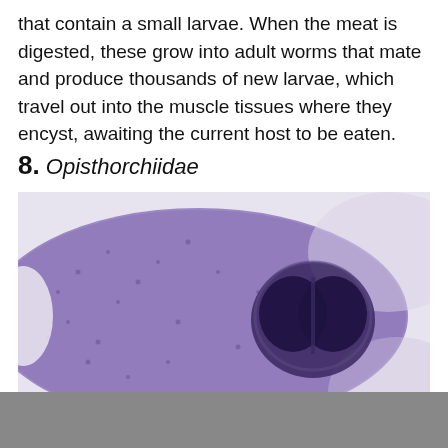that contain a small larvae. When the meat is digested, these grow into adult worms that mate and produce thousands of new larvae, which travel out into the muscle tissues where they encyst, awaiting the current host to be eaten.
8. Opisthorchiidae
[Figure (photo): Microscope image of an Opisthorchiidae fluke/worm, showing a purple-stained specimen with a distinctive dark double-lobed structure (suckers) on the right side, viewed under light microscopy.]